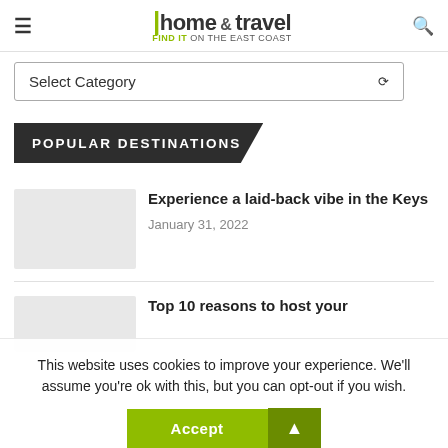home & travel — FIND IT on the East Coast
Select Category
POPULAR DESTINATIONS
[Figure (photo): Thumbnail placeholder image for article about the Keys]
Experience a laid-back vibe in the Keys
January 31, 2022
[Figure (photo): Thumbnail placeholder image for second article]
Top 10 reasons to host your
This website uses cookies to improve your experience. We'll assume you're ok with this, but you can opt-out if you wish.